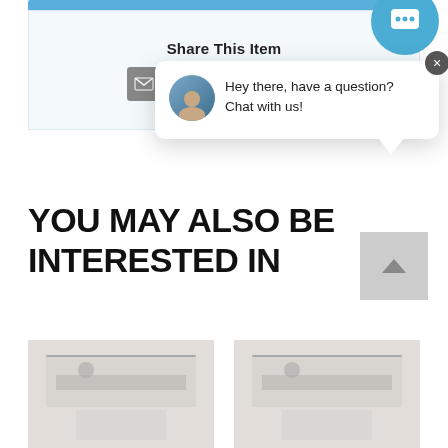[Figure (screenshot): Share This Item section with email, Twitter, Facebook, Pinterest, and more icons on a light blue background]
Share This Item
[Figure (infographic): Chat popup bubble with avatar and text: Hey there, have a question? Chat with us!]
YOU MAY ALSO BE INTERESTED IN
[Figure (photo): Kitchen range hood product photo left]
[Figure (photo): Kitchen range hood product photo right]